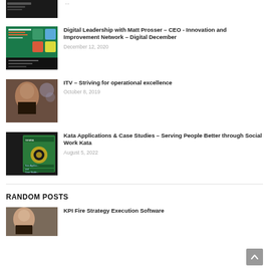[Figure (photo): Partial thumbnail of a dark video thumbnail at the top (cropped)]
[Figure (photo): Thumbnail for Digital Leadership with Matt Prosser article - colorful presentation slide]
Digital Leadership with Matt Prosser – CEO - Innovation and Improvement Network – Digital December
December 12, 2020
[Figure (photo): Thumbnail showing a woman speaking - ITV article]
ITV – Striving for operational excellence
October 8, 2019
[Figure (photo): Thumbnail showing Kata Applications & Case Studies green branded image]
Kata Applications & Case Studies – Serving People Better through Social Work Kata
August 5, 2022
RANDOM POSTS
[Figure (photo): Thumbnail for KPI Fire Strategy Execution Software article]
KPI Fire Strategy Execution Software